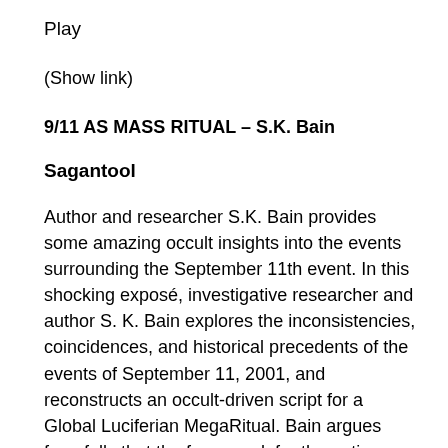Play
(Show link)
9/11 AS MASS RITUAL – S.K. Bain
Sagantool
Author and researcher S.K. Bain provides some amazing occult insights into the events surrounding the September 11th event. In this shocking exposé, investigative researcher and author S. K. Bain explores the inconsistencies, coincidences, and historical precedents of the events of September 11, 2001, and reconstructs an occult-driven script for a Global Luciferian MegaRitual. Bain argues forcefully that the framework for the entire event was a psychological warfare campaign built upon a deadly foundation of black magick and high technology. The book